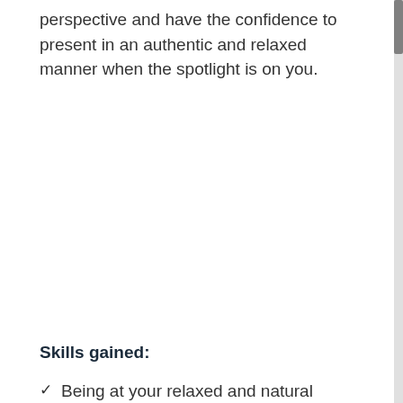perspective and have the confidence to present in an authentic and relaxed manner when the spotlight is on you.
Skills gained:
Being at your relaxed and natural best whatever